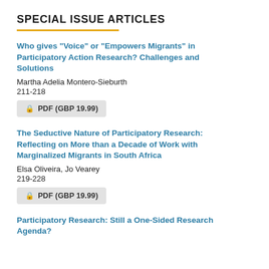SPECIAL ISSUE ARTICLES
Who gives “Voice” or “Empowers Migrants” in Participatory Action Research? Challenges and Solutions
Martha Adelia Montero-Sieburth
211-218
🔒 PDF (GBP 19.99)
The Seductive Nature of Participatory Research: Reflecting on More than a Decade of Work with Marginalized Migrants in South Africa
Elsa Oliveira, Jo Vearey
219-228
🔒 PDF (GBP 19.99)
Participatory Research: Still a One-Sided Research Agenda?